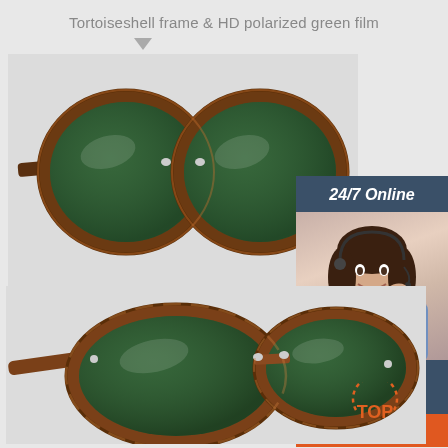Tortoiseshell frame & HD polarized green film
[Figure (photo): Front view of tortoiseshell frame round sunglasses with HD polarized green lenses]
[Figure (photo): 24/7 Online customer service sidebar with smiling woman wearing headset, 'Click here for free chat!' text, and orange QUOTATION button]
[Figure (photo): Perspective/angled view of tortoiseshell frame round sunglasses with HD polarized green lenses, with TOP badge in bottom right corner]